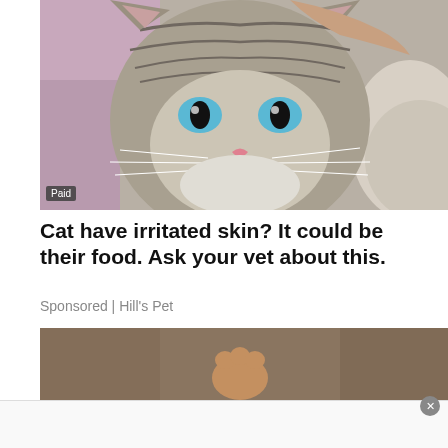[Figure (photo): Close-up photo of a tabby cat with blue eyes being petted by a person in a pink top. The cat faces the camera directly.]
Paid
Cat have irritated skin? It could be their food. Ask your vet about this.
Sponsored | Hill's Pet
[Figure (photo): Partial photo showing what appears to be a dog's paw/nose on a brown/tan background.]